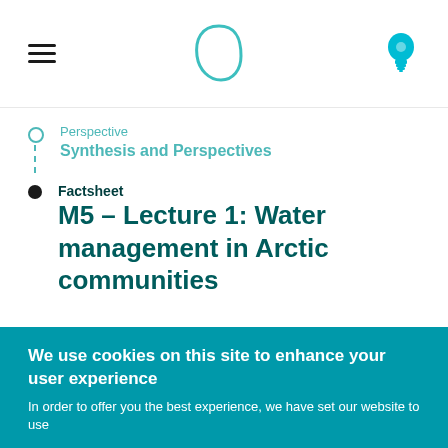≡ [logo] [lightbulb icon]
Perspective
Synthesis and Perspectives
Factsheet
M5 – Lecture 1: Water management in Arctic communities
Author/Compiled by
Roland Kallenborn, Norwegian University of Life Sciences (NMBU) &University Centre in Svalbard (UNIS)
We use cookies on this site to enhance your user experience
In order to offer you the best experience, we have set our website to use